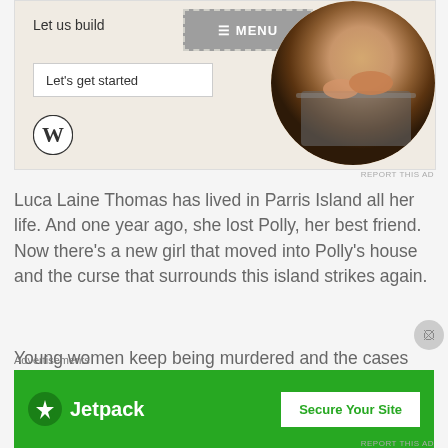[Figure (screenshot): WordPress website advertisement showing 'Let us build' text, MENU button, 'Let's get started' button, WordPress logo, and circular photo of person typing on laptop]
REPORT THIS AD
Luca Laine Thomas has lived in Parris Island all her life. And one year ago, she lost Polly, her best friend. Now there's a new girl that moved into Polly's house and the curse that surrounds this island strikes again.
Young women keep being murdered and the cases remain unsolved. Now it's Luca's turn to do some
Advertisements
[Figure (screenshot): Jetpack advertisement banner with green background showing Jetpack logo and 'Secure Your Site' button]
REPORT THIS AD